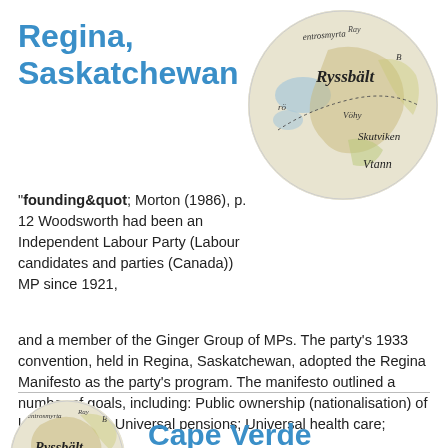Regina, Saskatchewan
[Figure (map): Circular cropped vintage map showing region labeled Ryssbält, Skutviken, Vtann, with Swedish place names and topographic coloring]
"founding&quot; Morton (1986), p. 12 Woodsworth had been an Independent Labour Party (Labour candidates and parties (Canada)) MP since 1921, and a member of the Ginger Group of MPs. The party's 1933 convention, held in Regina, Saskatchewan, adopted the Regina Manifesto as the party's program. The manifesto outlined a number of goals, including: Public ownership (nationalisation) of key industries; Universal pensions; Universal health care; Children's
[Figure (map): Circular cropped vintage map (partial, bottom of page) showing region with Swedish place names including Ryssbält]
Cape Verde